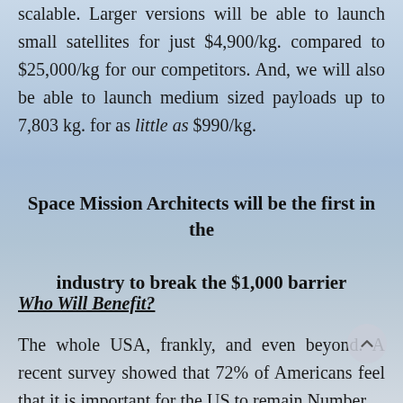scalable. Larger versions will be able to launch small satellites for just $4,900/kg. compared to $25,000/kg for our competitors. And, we will also be able to launch medium sized payloads up to 7,803 kg. for as little as $990/kg.
Space Mission Architects will be the first in the industry to break the $1,000 barrier
Who Will Benefit?
The whole USA, frankly, and even beyond. A recent survey showed that 72% of Americans feel that it is important for the US to remain Number